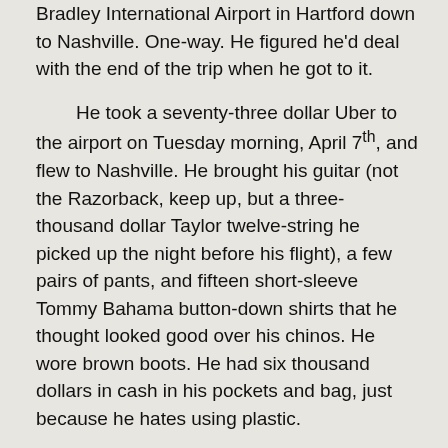Bradley International Airport in Hartford down to Nashville. One-way. He figured he'd deal with the end of the trip when he got to it.
He took a seventy-three dollar Uber to the airport on Tuesday morning, April 7th, and flew to Nashville. He brought his guitar (not the Razorback, keep up, but a three-thousand dollar Taylor twelve-string he picked up the night before his flight), a few pairs of pants, and fifteen short-sleeve Tommy Bahama button-down shirts that he thought looked good over his chinos. He wore brown boots. He had six thousand dollars in cash in his pockets and bag, just because he hates using plastic.
Ronnie K. was ready for Nashville.
Unfortunately, Nashville wasn't ready for Ronnie K. He went from one bad note to the next, but the